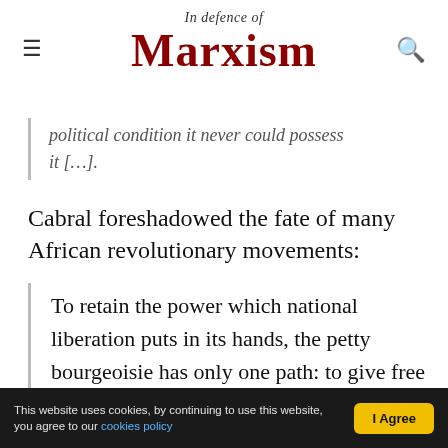In Defence of Marxism
political condition it never could possess it […].
Cabral foreshadowed the fate of many African revolutionary movements:
To retain the power which national liberation puts in its hands, the petty bourgeoisie has only one path: to give free rein to its natural tendencies to become more bourgeois, to permit the development of a bureaucratic and intermediary
This website uses cookies, by continuing to use this website, you agree to our cookies policy | I Agree